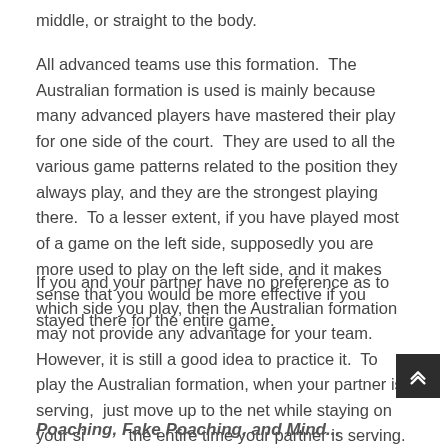middle, or straight to the body.
All advanced teams use this formation.  The Australian formation is used is mainly because many advanced players have mastered their play for one side of the court.  They are used to all the various game patterns related to the position they always play, and they are the strongest playing there.  To a lesser extent, if you have played most of a game on the left side, supposedly you are more used to play on the left side, and it makes sense that you would be more effective if you stayed there for the entire game.
If you and your partner have no preference as to which side you play, then the Australian formation may not provide any advantage for your team.  However, it is still a good idea to practice it.  To play the Australian formation, when your partner is serving,  just move up to the net while staying on your side the entire time your partner is serving.
Poaching, Fake Poaching, and Mind...